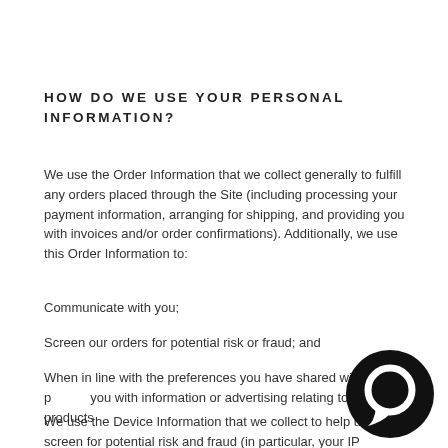HOW DO WE USE YOUR PERSONAL INFORMATION?
We use the Order Information that we collect generally to fulfill any orders placed through the Site (including processing your payment information, arranging for shipping, and providing you with invoices and/or order confirmations).  Additionally, we use this Order Information to:
Communicate with you;
Screen our orders for potential risk or fraud; and
When in line with the preferences you have shared with us, provide you with information or advertising relating to our products or services.
We use the Device Information that we collect to help us screen for potential risk and fraud (in particular, your IP address), and more